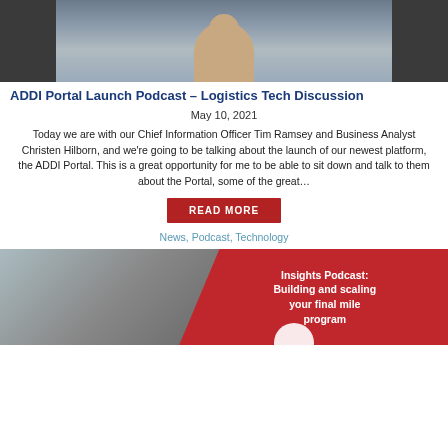[Figure (photo): Video thumbnail showing a woman in a video call setting, dark background on sides]
ADDI Portal Launch Podcast – Logistics Tech Discussion
May 10, 2021
Today we are with our Chief Information Officer Tim Ramsey and Business Analyst Christen Hilborn, and we're going to be talking about the launch of our newest platform, the ADDI Portal. This is a great opportunity for me to be able to sit down and talk to them about the Portal, some of the great...
READ MORE
News, Podcast, Technology
[Figure (photo): Insights Podcast: Building and scaling your final mile program — red banner with white text, left side shows grayscale image of hands with clipboard]